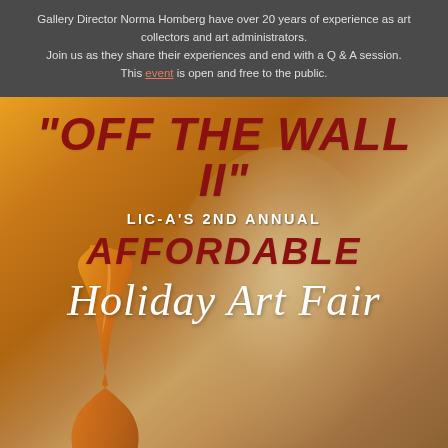Gallery Director Norma Homberg have over 20 years of experience as art collectors and art administrators. Join us as they share their experiences and end with a Q & A session. This event is open and free to the public.
[Figure (illustration): Poster for 'Off The Wall II' - LiC-A's 2nd Annual Affordable Holiday Art Fair. Warm golden-orange gradient background with a blurred vase silhouette in the foreground. Bold red italic text reads "OFF THE WALL II", white uppercase text reads "LiC-A'S 2ND ANNUAL", red text reads "AFFORDABLE", and white italic script reads "Holiday Art Fair".]